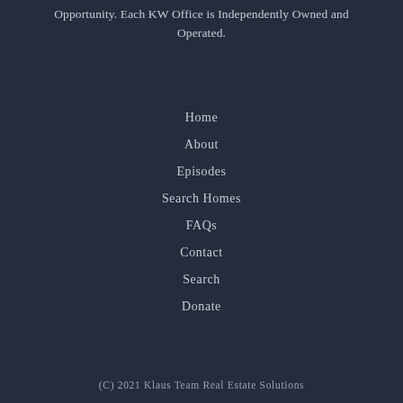Opportunity. Each KW Office is Independently Owned and Operated.
Home
About
Episodes
Search Homes
FAQs
Contact
Search
Donate
(C) 2021 Klaus Team Real Estate Solutions